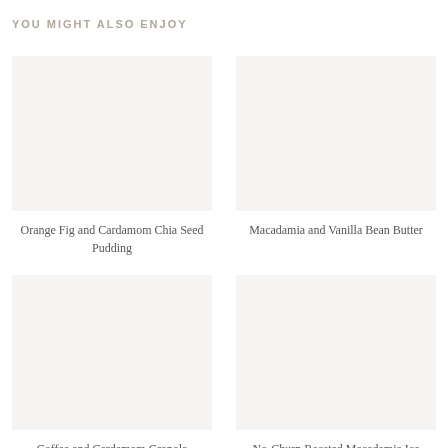YOU MIGHT ALSO ENJOY
[Figure (photo): Food photo placeholder for Orange Fig and Cardamom Chia Seed Pudding]
Orange Fig and Cardamom Chia Seed Pudding
[Figure (photo): Food photo placeholder for Macadamia and Vanilla Bean Butter]
Macadamia and Vanilla Bean Butter
[Figure (photo): Food photo placeholder for Coffee and Cardamom Granola]
Coffee and Cardamom Granola
[Figure (photo): Food photo placeholder for No-Churn Roasted Macadamia Ice]
No-Churn Roasted Macadamia Ice